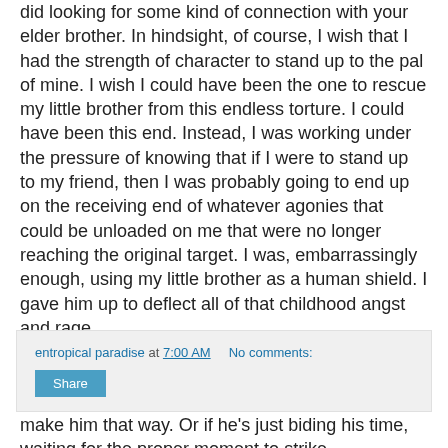did looking for some kind of connection with your elder brother. In hindsight, of course, I wish that I had the strength of character to stand up to the pal of mine. I wish I could have been the one to rescue my little brother from this endless torture. I could have been this end. Instead, I was working under the pressure of knowing that if I were to stand up to my friend, then I was probably going to end up on the receiving end of whatever agonies that could be unloaded on me that were no longer reaching the original target. I was, embarrassingly enough, using my little brother as a human shield. I gave him up to deflect all of that childhood angst and rage.
And I'm sorry.
We laugh about it now, and I marvel at how resilient he is. I wonder sometimes if I helped make him that way. Or if he's just biding his time, waiting for the proper moment to strike.
entropical paradise at 7:00 AM   No comments:
Share